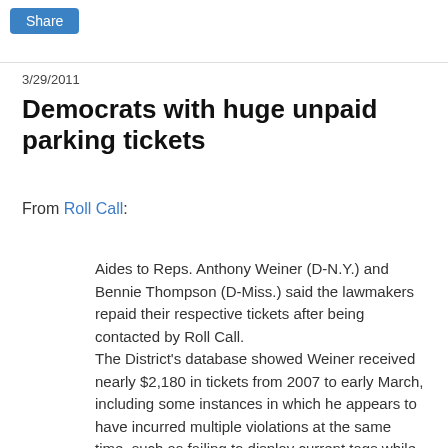[Figure (other): Share button - blue rounded rectangle with white text 'Share']
3/29/2011
Democrats with huge unpaid parking tickets
From Roll Call:
Aides to Reps. Anthony Weiner (D-N.Y.) and Bennie Thompson (D-Miss.) said the lawmakers repaid their respective tickets after being contacted by Roll Call. The District's database showed Weiner received nearly $2,180 in tickets from 2007 to early March, including some instances in which he appears to have incurred multiple violations at the same time, such as failing to display current tags while parked in a taxi stand zone. "All of the Congressman's parking tickets have been paid. He is pleased to have helped